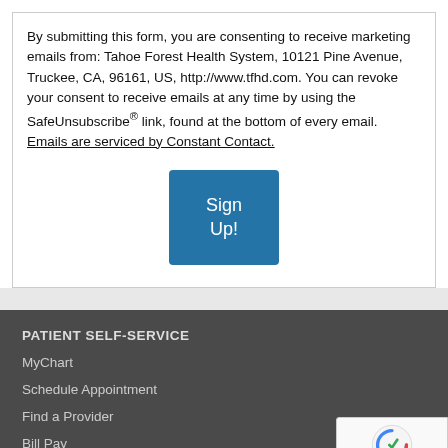By submitting this form, you are consenting to receive marketing emails from: Tahoe Forest Health System, 10121 Pine Avenue, Truckee, CA, 96161, US, http://www.tfhd.com. You can revoke your consent to receive emails at any time by using the SafeUnsubscribe® link, found at the bottom of every email. Emails are serviced by Constant Contact.
[Figure (other): Blue 'Sign Up!' button]
PATIENT SELF-SERVICE
MyChart
Schedule Appointment
Find a Provider
Bill Pay
Financial Customer Service